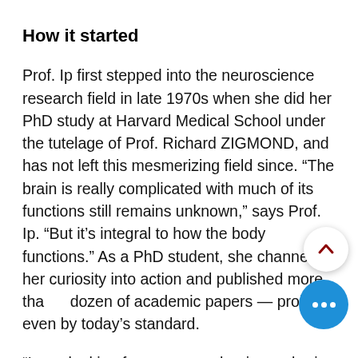How it started
Prof. Ip first stepped into the neuroscience research field in late 1970s when she did her PhD study at Harvard Medical School under the tutelage of Prof. Richard ZIGMOND, and has not left this mesmerizing field since. “The brain is really complicated with much of its functions still remains unknown,” says Prof. Ip. “But it’s integral to how the body functions.” As a PhD student, she channeled her curiosity into action and published more than a dozen of academic papers — prolific even by today’s standard.
“I was looking for a new mechanism of brain cell communication for my PhD